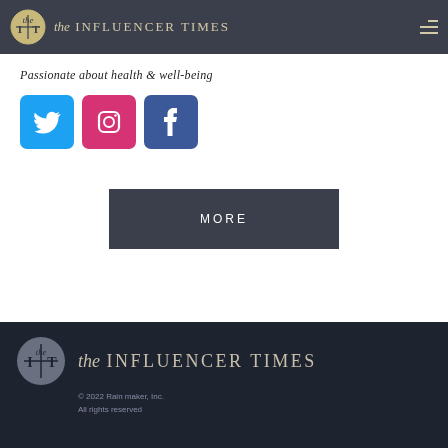the Influencer Times
Passionate about health & well-being
[Figure (logo): Twitter, Instagram, and Facebook social media icon buttons]
MORE
the Influencer Times
© 2022 Rain maker, Inc.
All rights reserved